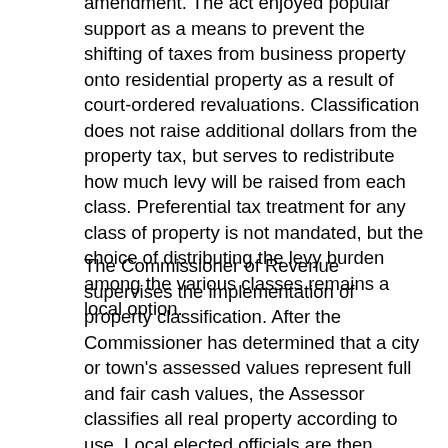amendment. The act enjoyed popular support as a means to prevent the shifting of taxes from business property onto residential property as a result of court-ordered revaluations. Classification does not raise additional dollars from the property tax, but serves to redistribute how much levy will be raised from each class. Preferential tax treatment for any class of property is not mandated, but the choice of distributing the levy burden among the various classes remains a local option.
The Commissioner of Revenue supervises the implementation of property classification. After the Commissioner has determined that a city or town's assessed values represent full and fair cash values, the Assessor classifies all real property according to use. Local elected officials are then permitted to determine, within limits calculated by the Commissioner, what percentage of the tax burden is to be borne by each property class.
The determination how to allocate the tax burden by class is made annually. In Clinton as in other Towns, the